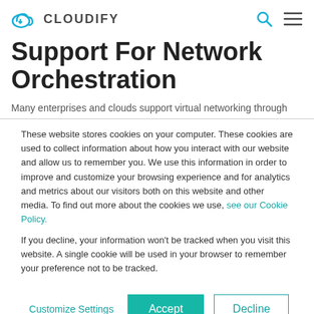CLOUDIFY
Support For Network Orchestration
Many enterprises and clouds support virtual networking through
These website stores cookies on your computer. These cookies are used to collect information about how you interact with our website and allow us to remember you. We use this information in order to improve and customize your browsing experience and for analytics and metrics about our visitors both on this website and other media. To find out more about the cookies we use, see our Cookie Policy.
If you decline, your information won't be tracked when you visit this website. A single cookie will be used in your browser to remember your preference not to be tracked.
Customize Settings | Accept | Decline